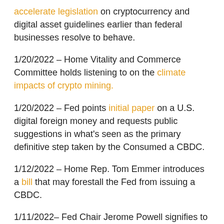accelerate legislation on cryptocurrency and digital asset guidelines earlier than federal businesses resolve to behave.
1/20/2022 – Home Vitality and Commerce Committee holds listening to on the climate impacts of crypto mining.
1/20/2022 – Fed points initial paper on a U.S. digital foreign money and requests public suggestions in what's seen as the primary definitive step taken by the Consumed a CBDC.
1/12/2022 – Home Rep. Tom Emmer introduces a bill that may forestall the Fed from issuing a CBDC.
1/11/2022– Fed Chair Jerome Powell signifies to the Senate Banking Committee that he's open to giving crypto banks access to Fed payment rails and Fed